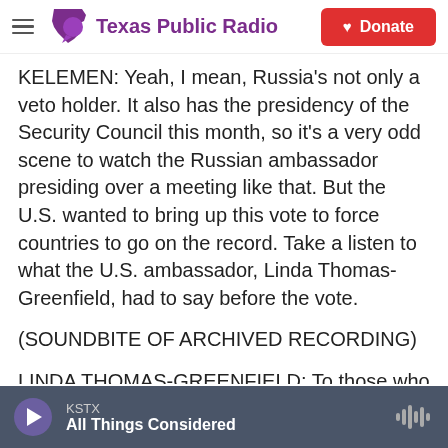[Figure (logo): Texas Public Radio logo with purple Texas state shape and speech bubble, purple text 'Texas Public Radio', hamburger menu icon on left, red Donate button with heart on right]
KELEMEN: Yeah, I mean, Russia's not only a veto holder. It also has the presidency of the Security Council this month, so it's a very odd scene to watch the Russian ambassador presiding over a meeting like that. But the U.S. wanted to bring up this vote to force countries to go on the record. Take a listen to what the U.S. ambassador, Linda Thomas-Greenfield, had to say before the vote.
(SOUNDBITE OF ARCHIVED RECORDING)
LINDA THOMAS-GREENFIELD: To those who say all parties are culpable, I say that is a clear copout. Russia is the aggressor here. There is no middle
[Figure (screenshot): Audio player bar at bottom: purple play button, KSTX station label, 'All Things Considered' show title, audio waveform icon on right]